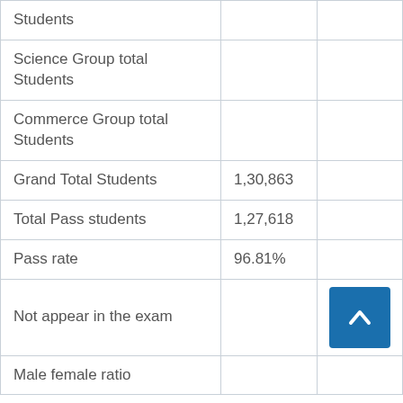|  |  |  |
| --- | --- | --- |
| Students |  |  |
| Science Group total Students |  |  |
| Commerce Group total Students |  |  |
| Grand Total Students | 1,30,863 |  |
| Total Pass students | 1,27,618 |  |
| Pass rate | 96.81% |  |
| Not appear in the exam |  | ↑ |
| Male female ratio |  |  |